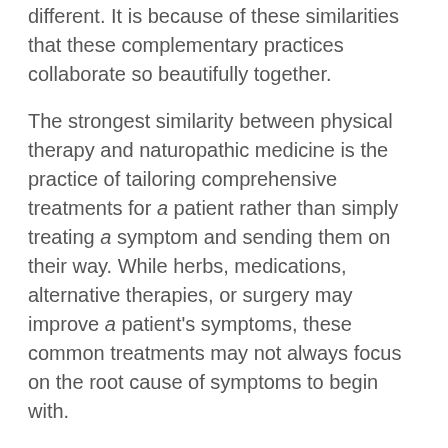different. It is because of these similarities that these complementary practices collaborate so beautifully together.
The strongest similarity between physical therapy and naturopathic medicine is the practice of tailoring comprehensive treatments for a patient rather than simply treating a symptom and sending them on their way. While herbs, medications, alternative therapies, or surgery may improve a patient's symptoms, these common treatments may not always focus on the root cause of symptoms to begin with.
Natural medicine focuses on using natural substances to help with the symptoms while using complex evaluations to decipher not only a root cause but also a practical solution. Similarly, physical therapy utilizes extensive patient evaluations to create treatment plans that not only reduce pain but also focus on preventative care and patient education.
Issues such as chronic pain, low energy, inflammation, and